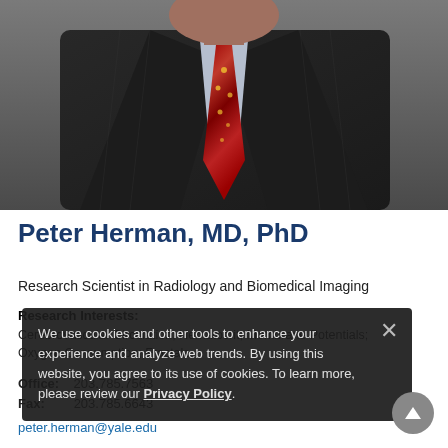[Figure (photo): Professional headshot of Peter Herman, MD, PhD, wearing a dark pinstripe suit and colorful red/yellow tie, shown from chest up]
Peter Herman, MD, PhD
Research Scientist in Radiology and Biomedical Imaging
Research Interests:
Cerebrovascular Circulation; Hematocrit; Membrane Potentials; Oxygen Consumption; Fractals
Office: 203.785.7563
Fax: 203.785.6643
peter.herman@yale.edu
We use cookies and other tools to enhance your experience and analyze web trends. By using this website, you agree to its use of cookies. To learn more, please review our Privacy Policy.